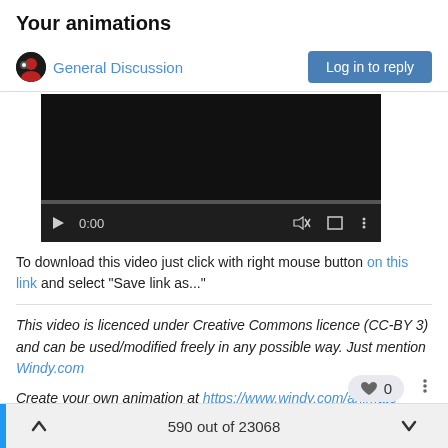Your animations
General Discussion
[Figure (screenshot): Embedded video player showing a dark background with playback controls: play button, time display 0:00, mute icon, fullscreen icon, and a menu icon. A progress bar is visible at the bottom of the player.]
To download this video just click with right mouse button on this link and select "Save link as..."
This video is licenced under Creative Commons licence (CC-BY 3) and can be used/modified freely in any possible way. Just mention Windy.com
Create your own animation at https://www.windy.com/animate
590 out of 23068